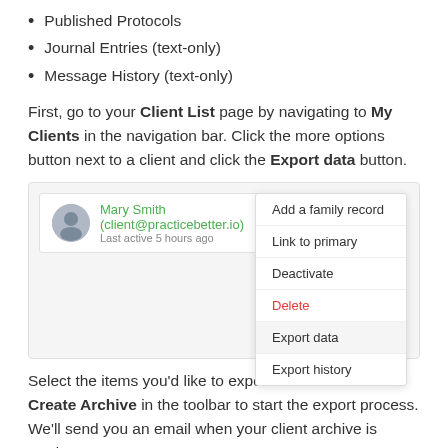Published Protocols
Journal Entries (text-only)
Message History (text-only)
First, go to your Client List page by navigating to My Clients in the navigation bar. Click the more options button next to a client and click the Export data button.
[Figure (screenshot): Screenshot showing a client list entry for Mary Smith (client@practicebetter.io), Last active 5 hours ago, with a dropdown menu showing options: Add a family record, Link to primary, Deactivate, Delete (in red), Export data (highlighted), Export history.]
Select the items you'd like to export for this client. Hit Create Archive in the toolbar to start the export process. We'll send you an email when your client archive is ready.
You can view your client's export history by selecting Export